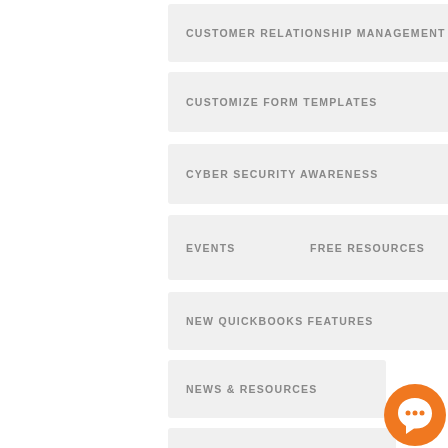CUSTOMER RELATIONSHIP MANAGEMENT
CUSTOMIZE FORM TEMPLATES
CYBER SECURITY AWARENESS
EVENTS
FREE RESOURCES
NEW QUICKBOOKS FEATURES
NEWS & RESOURCES
PAYMENTS PROCESSING
PAYROLL SETUP
QUICKBOOKS ADD-ONS & EXTENSIONS
[Figure (logo): Orange circular chat bubble icon with white speech bubble symbol]